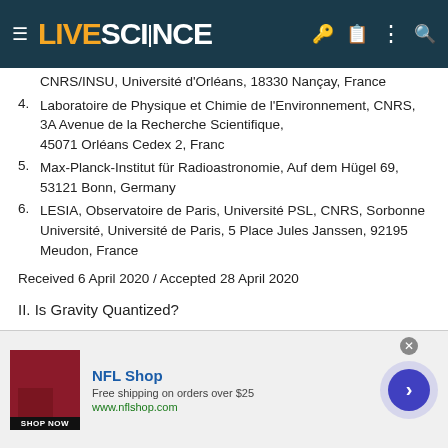LIVE SCIENCE
CNRS/INSU, Université d'Orléans, 18330 Nançay, France (partial, top of page)
4. Laboratoire de Physique et Chimie de l'Environnement, CNRS, 3A Avenue de la Recherche Scientifique, 45071 Orléans Cedex 2, Franc
5. Max-Planck-Institut für Radioastronomie, Auf dem Hügel 69, 53121 Bonn, Germany
6. LESIA, Observatoire de Paris, Université PSL, CNRS, Sorbonne Université, Université de Paris, 5 Place Jules Janssen, 92195 Meudon, France
Received 6 April 2020 / Accepted 28 April 2020
II. Is Gravity Quantized?
In 2015, however, theoretical physicist James Quach, now at the University of Adelaide in Australia, suggested a way to detect
[Figure (screenshot): Advertisement banner for NFL Shop: 'Free shipping on orders over $25', www.nflshop.com, with a dark red jersey image on the left and a blue arrow button on the right.]